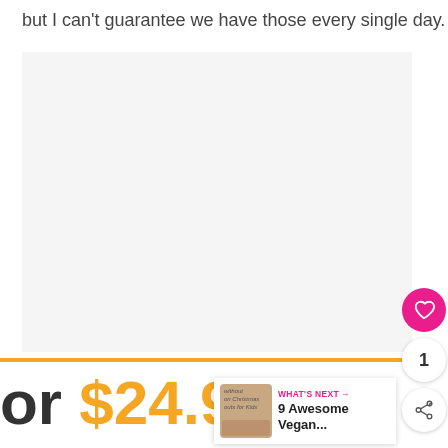but I can't guarantee we have those every single day.
[Figure (other): Light gray empty image placeholder box]
or $24.99
[Figure (other): UI overlay: heart/like button (pink), count badge showing 1, share button, and What's Next panel showing '9 Awesome Vegan...' with thumbnail]